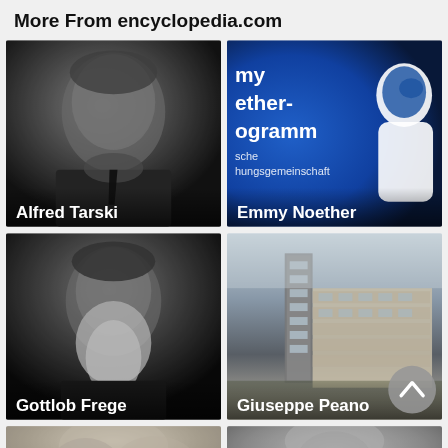More From encyclopedia.com
[Figure (photo): Black and white portrait of Alfred Tarski, an elderly man in a suit]
[Figure (photo): Blue graphic with white silhouette profile and German text 'my ether-ogramm / sche / hungsgemeinschaft' — Emmy Noether program graphic]
[Figure (photo): Black and white portrait of Gottlob Frege, elderly man with a long white beard]
[Figure (photo): Color photo of a modern multi-story building — associated with Giuseppe Peano — with a circular scroll-up button in the corner]
[Figure (photo): Partial bottom-left photo, black and white, appears to show a person]
[Figure (photo): Partial bottom-right photo, grayscale, appears to show a person's face]